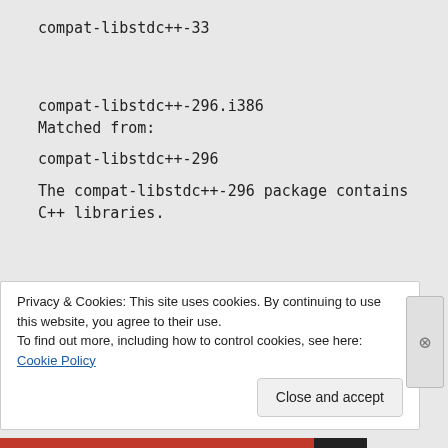compat-libstdc++-33
compat-libstdc++-296.i386
Matched from:
compat-libstdc++-296
The compat-libstdc++-296 package contains C++ libraries.
compat-libstdc++-33.i386
Privacy & Cookies: This site uses cookies. By continuing to use this website, you agree to their use.
To find out more, including how to control cookies, see here: Cookie Policy